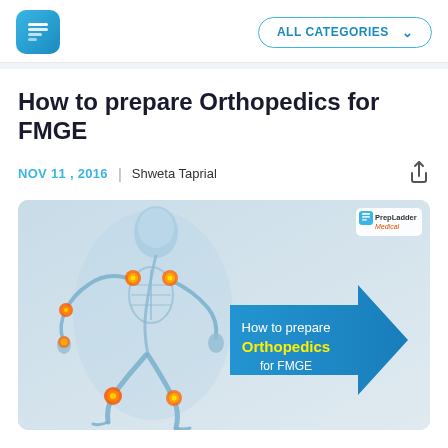PrepLadder | ALL CATEGORIES
How to prepare Orthopedics for FMGE
NOV 11 , 2016 | Shweta Taprial
[Figure (illustration): A blue-toned skeletal human figure in a running pose with orange/red joint pain indicators at shoulders, elbows, wrists, and knees. On the right side, a large blue arrow pointing right contains text: 'How to prepare Orthopedics for FMGE' with 'Orthopedics' in yellow. PrepLadder Medical logo in top right corner.]